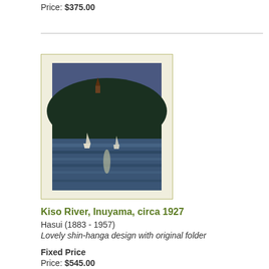Price: $375.00
[Figure (illustration): Japanese woodblock print showing Kiso River at Inuyama at night, with dark forested hills, a pagoda or structure visible atop the hill, boats on the water, and reflections on the river surface. Framed with a light cream/tan border.]
Kiso River, Inuyama, circa 1927
Hasui (1883 - 1957)
Lovely shin-hanga design with original folder
Fixed Price
Price: $545.00
[Figure (illustration): Partial view of a Japanese woodblock print showing what appears to be a pine tree or similar stylized tree in blue tones against a light gray background. Only the top portion of the artwork is visible.]